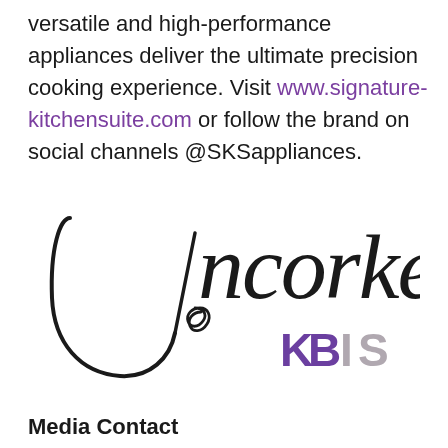versatile and high-performance appliances deliver the ultimate precision cooking experience. Visit www.signature-kitchensuite.com or follow the brand on social channels @SKSappliances.
[Figure (logo): Uncorked KBIS logo — cursive handwritten text 'Uncorked' in black with a corkscrew illustration, and 'KBIS' in bold purple and grey below]
Media Contact